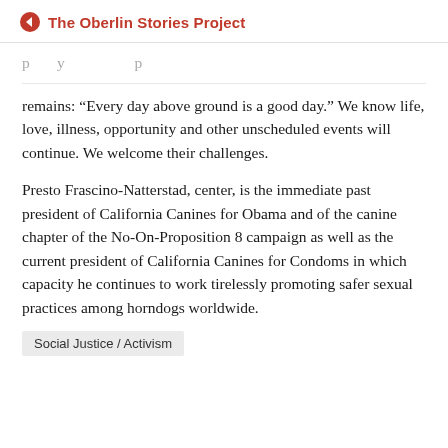The Oberlin Stories Project
remains: “Every day above ground is a good day.” We know life, love, illness, opportunity and other unscheduled events will continue. We welcome their challenges.
Presto Frascino-Natterstad, center, is the immediate past president of California Canines for Obama and of the canine chapter of the No-On-Proposition 8 campaign as well as the current president of California Canines for Condoms in which capacity he continues to work tirelessly promoting safer sexual practices among horndogs worldwide.
Social Justice / Activism